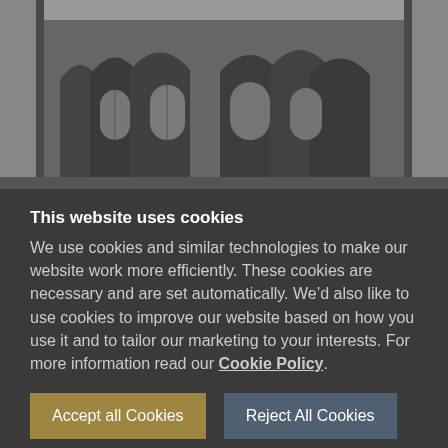[Figure (photo): Grayscale photograph of a gothic cathedral interior or exterior, showing arched windows and architectural details]
This website uses cookies
We use cookies and similar technologies to make our website work more efficiently. These cookies are necessary and are set automatically. We’d also like to use cookies to improve our website based on how you use it and to tailor our marketing to your interests. For more information read our Cookie Policy.
Accept all Cookies
Reject All Cookies
Manage Cookies